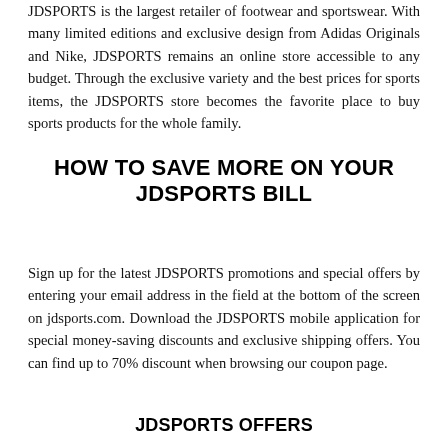JDSPORTS is the largest retailer of footwear and sportswear. With many limited editions and exclusive design from Adidas Originals and Nike, JDSPORTS remains an online store accessible to any budget. Through the exclusive variety and the best prices for sports items, the JDSPORTS store becomes the favorite place to buy sports products for the whole family.
HOW TO SAVE MORE ON YOUR JDSPORTS BILL
Sign up for the latest JDSPORTS promotions and special offers by entering your email address in the field at the bottom of the screen on jdsports.com. Download the JDSPORTS mobile application for special money-saving discounts and exclusive shipping offers. You can find up to 70% discount when browsing our coupon page.
JDSPORTS OFFERS